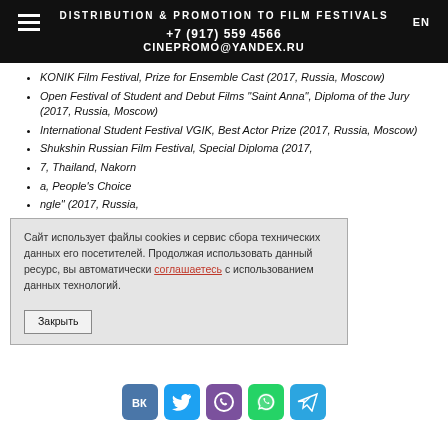DISTRIBUTION & PROMOTION TO FILM FESTIVALS
+7 (917) 559 4566
CINEPROMO@YANDEX.RU
KONIK Film Festival, Prize for Ensemble Cast (2017, Russia, Moscow)
Open Festival of Student and Debut Films "Saint Anna", Diploma of the Jury (2017, Russia, Moscow)
International Student Festival VGIK, Best Actor Prize (2017, Russia, Moscow)
Shukshin Russian Film Festival, Special Diploma (2017, ...
(2017, Thailand, Nakorn ...
..., People's Choice ...
..."ngle" (2017, Russia, Moscow)
Сайт использует файлы cookies и сервис сбора технических данных его посетителей. Продолжая использовать данный ресурс, вы автоматически соглашаетесь с использованием данных технологий.
Закрыть